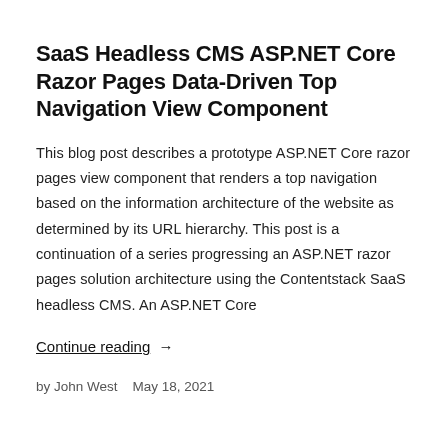SaaS Headless CMS ASP.NET Core Razor Pages Data-Driven Top Navigation View Component
This blog post describes a prototype ASP.NET Core razor pages view component that renders a top navigation based on the information architecture of the website as determined by its URL hierarchy. This post is a continuation of a series progressing an ASP.NET razor pages solution architecture using the Contentstack SaaS headless CMS. An ASP.NET Core
Continue reading  →
by John West    May 18, 2021